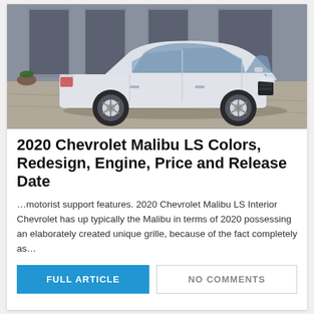[Figure (photo): White Chevrolet Malibu sedan parked on a paved surface in front of a building]
2020 Chevrolet Malibu LS Colors, Redesign, Engine, Price and Release Date
…motorist support features. 2020 Chevrolet Malibu LS Interior Chevrolet has up typically the Malibu in terms of 2020 possessing an elaborately created unique grille, because of the fact completely as…
FULL ARTICLE
NO COMMENTS